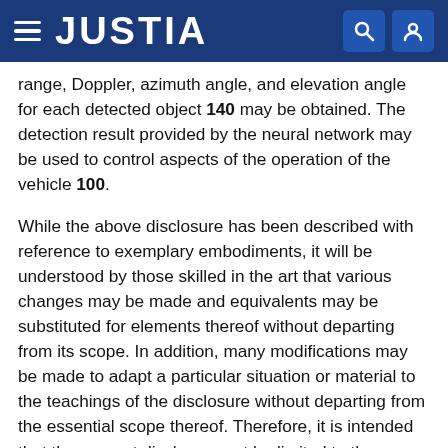JUSTIA
range, Doppler, azimuth angle, and elevation angle for each detected object 140 may be obtained. The detection result provided by the neural network may be used to control aspects of the operation of the vehicle 100.
While the above disclosure has been described with reference to exemplary embodiments, it will be understood by those skilled in the art that various changes may be made and equivalents may be substituted for elements thereof without departing from its scope. In addition, many modifications may be made to adapt a particular situation or material to the teachings of the disclosure without departing from the essential scope thereof. Therefore, it is intended that the present disclosure not be limited to the particular embodiments disclosed, but will include all